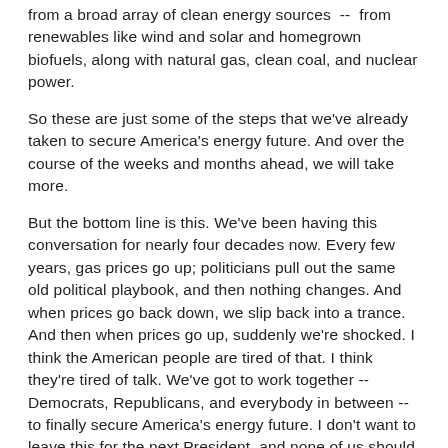from a broad array of clean energy sources -- from renewables like wind and solar and homegrown biofuels, along with natural gas, clean coal, and nuclear power.
So these are just some of the steps that we've already taken to secure America's energy future. And over the course of the weeks and months ahead, we will take more.
But the bottom line is this. We've been having this conversation for nearly four decades now. Every few years, gas prices go up; politicians pull out the same old political playbook, and then nothing changes. And when prices go back down, we slip back into a trance. And then when prices go up, suddenly we're shocked. I think the American people are tired of that. I think they're tired of talk. We've got to work together -- Democrats, Republicans, and everybody in between -- to finally secure America's energy future. I don't want to leave this for the next President, and none of us should want to leave it for our kids.